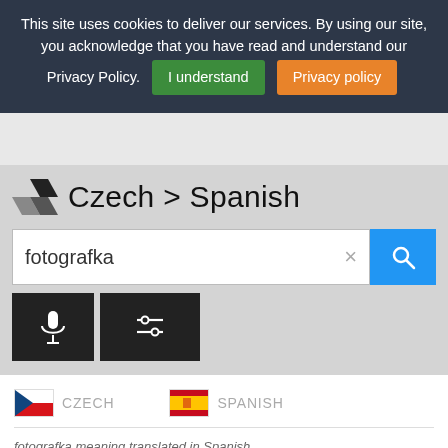This site uses cookies to deliver our services. By using our site, you acknowledge that you have read and understand our Privacy Policy. I understand  Privacy policy
[Figure (screenshot): Translation interface showing Czech > Spanish with search box containing 'fotografka', microphone and settings buttons, Czech and Spanish flag language selectors]
fotografka
CZECH
SPANISH